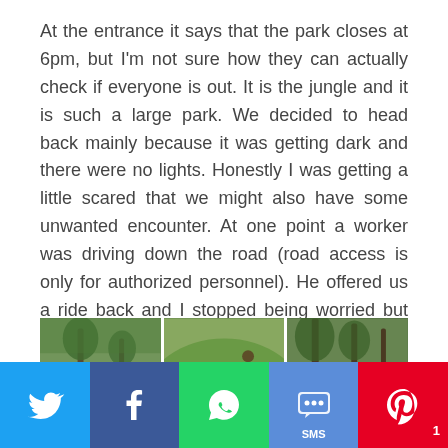At the entrance it says that the park closes at 6pm, but I'm not sure how they can actually check if everyone is out. It is the jungle and it is such a large park. We decided to head back mainly because it was getting dark and there were no lights. Honestly I was getting a little scared that we might also have some unwanted encounter. At one point a worker was driving down the road (road access is only for authorized personnel). He offered us a ride back and I stopped being worried but was only 100% grateful!
[Figure (photo): Three-panel photo strip showing jungle/park scenes: left panel with tall trees, middle panel with a child in green shirt standing on a grassy hill with monkeys, right panel with tall trees and forest]